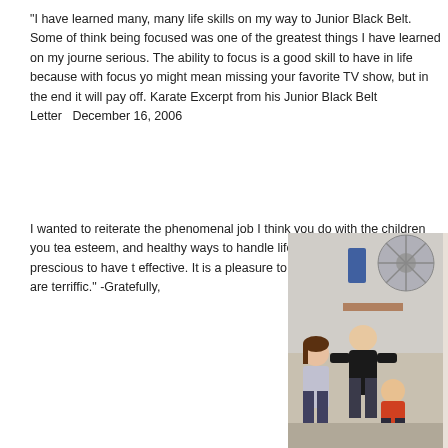“I have learned many, many life skills on my way to Junior Black Belt. Some of think being focused was one of the greatest things I have learned on my journey serious. The ability to focus is a good skill to have in life because with focus yo might mean missing your favorite TV show, but in the end it will pay off. Karate Excerpt from his Junior Black Belt Letter   December 16, 2006
I wanted to reiterate the phenomenal job I think you do with the children you tea esteem, and healthy ways to handle life situations. It is truly prescious to have t effective. It is a pleasure to watch and we all think you are terriffic.” -Gratefully,
[Figure (photo): Photo of children in a karate class setting, partially cropped at the right edge of the page]